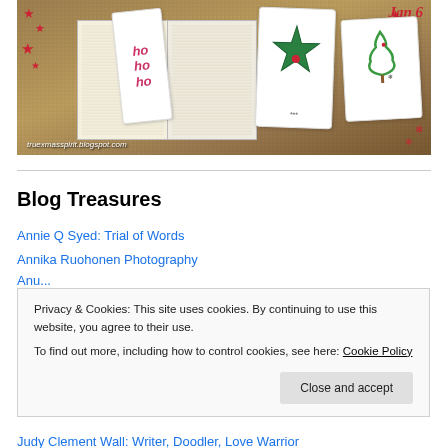[Figure (photo): Christmas-themed photo showing an open book with handmade bookmarks and gift tags: a 'ho ho ho' bookmark (left), a green star card (center), and a Christmas tree card (right), with red star decorations on a burlap background. Text overlay: 'truexmasspirit.blogspot.com' and 'Jan 6' in red.]
Blog Treasures
Annie Q Syed: Trial of Words
Annika Ruohonen Photography
Privacy & Cookies: This site uses cookies. By continuing to use this website, you agree to their use.
To find out more, including how to control cookies, see here: Cookie Policy
Judy Clement Wall: Writer, Doodler, Love Warrior